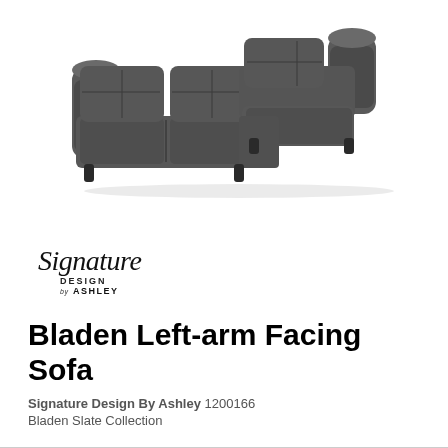[Figure (photo): Photo of a dark grey/slate leather L-shaped sectional sofa (left-arm facing configuration) with rolled arms and button-tufted cushions, shown on a white background.]
[Figure (logo): Signature Design by Ashley logo: cursive 'Signature' script above 'DESIGN by ASHLEY' in small caps.]
Bladen Left-arm Facing Sofa
Signature Design By Ashley 1200166
Bladen Slate Collection